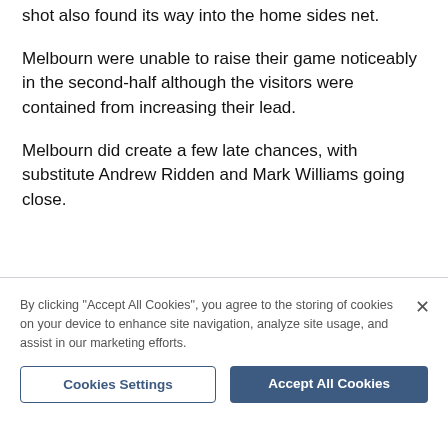shot also found its way into the home sides net.
Melbourn were unable to raise their game noticeably in the second-half although the visitors were contained from increasing their lead.
Melbourn did create a few late chances, with substitute Andrew Ridden and Mark Williams going close.
By clicking "Accept All Cookies", you agree to the storing of cookies on your device to enhance site navigation, analyze site usage, and assist in our marketing efforts.
Cookies Settings
Accept All Cookies